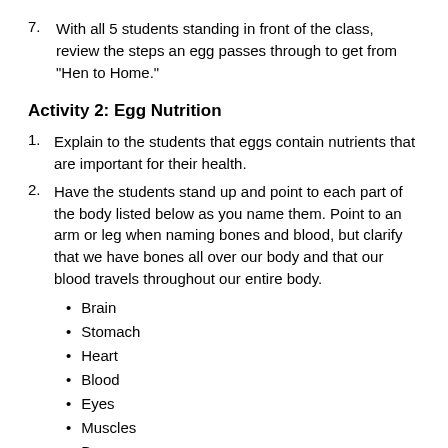7. With all 5 students standing in front of the class, review the steps an egg passes through to get from "Hen to Home."
Activity 2: Egg Nutrition
1. Explain to the students that eggs contain nutrients that are important for their health.
2. Have the students stand up and point to each part of the body listed below as you name them. Point to an arm or leg when naming bones and blood, but clarify that we have bones all over our body and that our blood travels throughout our entire body.
Brain
Stomach
Heart
Blood
Eyes
Muscles
Bones
3. Explain to the students that all of the parts of